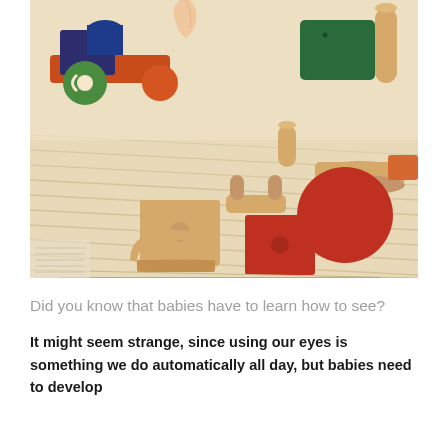[Figure (photo): Close-up photograph of colorful wooden toy blocks and shapes on a straw/woven mat surface. Includes a toy train with green circle wheel and orange/red wheels, green rectangular block, natural wood cylinders, cubes with holes, and curved arch shapes in red and natural wood tones. A hand is visible at the top touching the toy train.]
Did you know that babies have to learn how to see?
It might seem strange, since using our eyes is something we do automatically all day, but babies need to develop